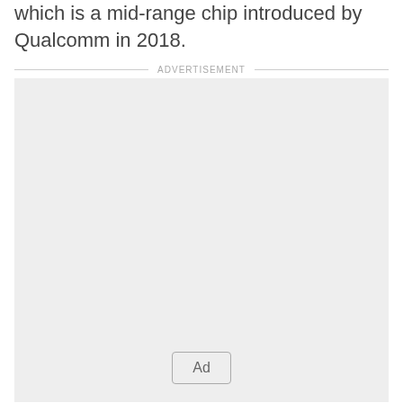which is a mid-range chip introduced by Qualcomm in 2018.
[Figure (other): Advertisement placeholder box with 'ADVERTISEMENT' label above and 'Ad' button at bottom center]